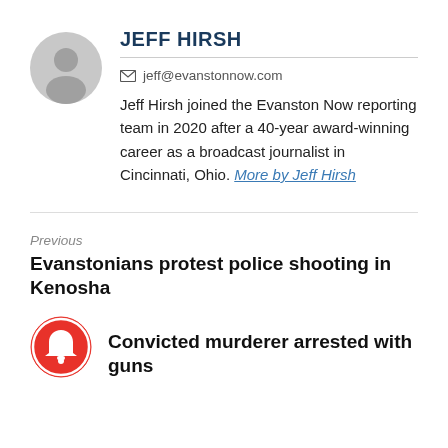[Figure (illustration): Gray circular avatar/profile placeholder icon]
JEFF HIRSH
jeff@evanstonnow.com
Jeff Hirsh joined the Evanston Now reporting team in 2020 after a 40-year award-winning career as a broadcast journalist in Cincinnati, Ohio. More by Jeff Hirsh
Previous
Evanstonians protest police shooting in Kenosha
[Figure (illustration): Red circular notification/bell icon]
Convicted murderer arrested with guns